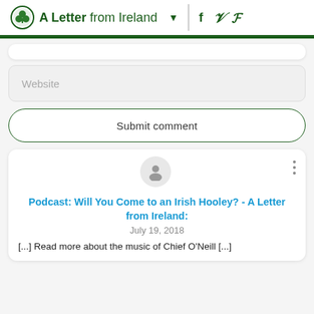A Letter from Ireland
Website
Submit comment
Podcast: Will You Come to an Irish Hooley? - A Letter from Ireland:
July 19, 2018
[...] Read more about the music of Chief O'Neill [...]